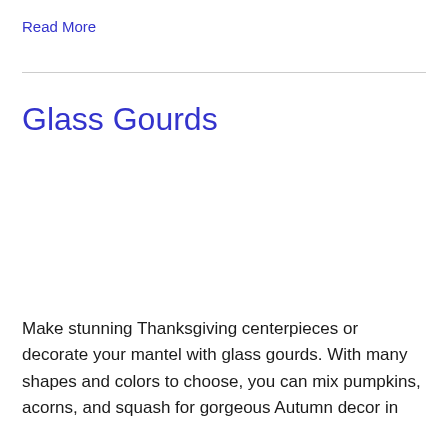Read More
Glass Gourds
Make stunning Thanksgiving centerpieces or decorate your mantel with glass gourds. With many shapes and colors to choose, you can mix pumpkins, acorns, and squash for gorgeous Autumn decor in